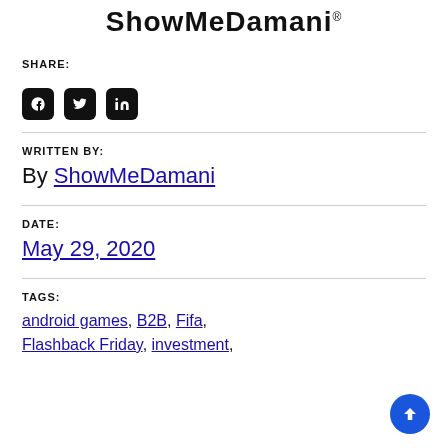ShowMeDamani®
SHARE:
[Figure (other): Social media share icons: Facebook, Twitter, LinkedIn]
WRITTEN BY:
By ShowMeDamani
DATE:
May 29, 2020
TAGS:
android games, B2B, Fifa, Flashback Friday, investment,